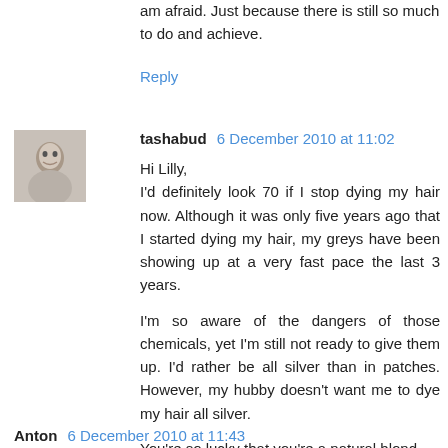am afraid. Just because there is still so much to do and achieve.
Reply
[Figure (photo): Small avatar photo of a person's face]
tashabud 6 December 2010 at 11:02
Hi Lilly,
I'd definitely look 70 if I stop dying my hair now. Although it was only five years ago that I started dying my hair, my greys have been showing up at a very fast pace the last 3 years.

I'm so aware of the dangers of those chemicals, yet I'm still not ready to give them up. I'd rather be all silver than in patches. However, my hubby doesn't want me to dye my hair all silver.

You're so lucky that you're a natural blond.
Reply
Anton 6 December 2010 at 11:43